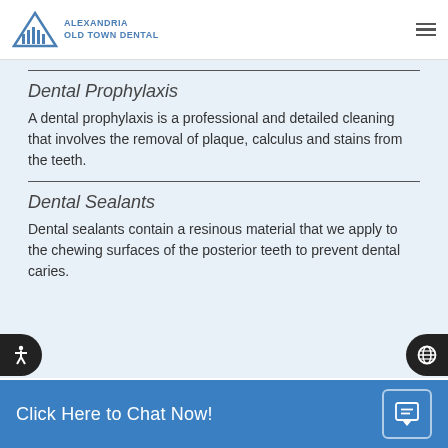[Figure (logo): Alexandria Old Town Dental logo with triangle/building icon in blue]
Dental Prophylaxis
A dental prophylaxis is a professional and detailed cleaning that involves the removal of plaque, calculus and stains from the teeth.
Dental Sealants
Dental sealants contain a resinous material that we apply to the chewing surfaces of the posterior teeth to prevent dental caries.
Click Here to Chat Now!